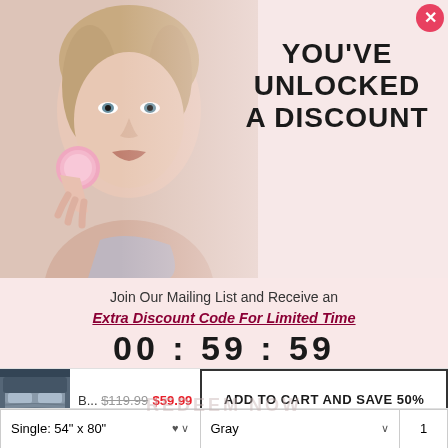[Figure (photo): Woman holding a pink facial cleansing device to her cheek, split half-color half-faded effect, on pink background]
YOU'VE UNLOCKED A DISCOUNT
Join Our Mailing List and Receive an Extra Discount Code For Limited Time
00 : 59 : 59
[Figure (photo): Product thumbnail - gray bedding set]
B... $119.99 $59.99 ADD TO CART AND SAVE 50%
Single: 54" x 80"   Gray   1